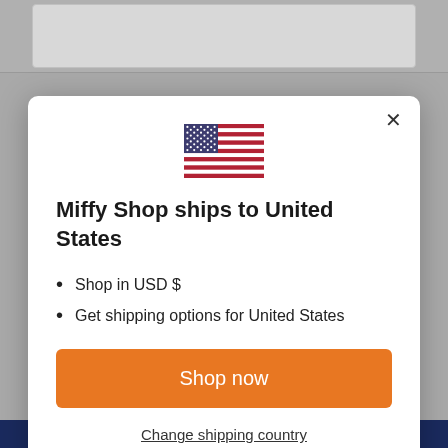[Figure (screenshot): US flag emoji displayed centered above modal title]
Miffy Shop ships to United States
Shop in USD $
Get shipping options for United States
Shop now
Change shipping country